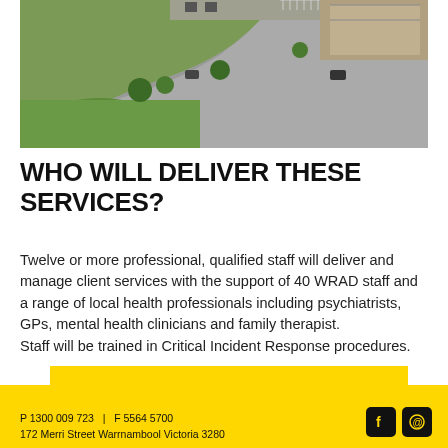[Figure (photo): Aerial view of a building complex with a curved driveway, green lawns, cars and trees visible from above.]
WHO WILL DELIVER THESE SERVICES?
Twelve or more professional, qualified staff will deliver and manage client services with the support of 40 WRAD staff and a range of local health professionals including psychiatrists, GPs, mental health clinicians and family therapist.
Staff will be trained in Critical Incident Response procedures.
P 1300 009 723   |   F 5564 5700
172 Merri Street Warrnambool Victoria 3280